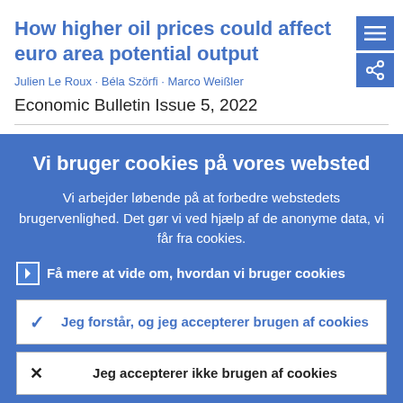How higher oil prices could affect euro area potential output
Julien Le Roux · Béla Szörfi · Marco Weißler
Economic Bulletin Issue 5, 2022
Vi bruger cookies på vores websted
Vi arbejder løbende på at forbedre webstedets brugervenlighed. Det gør vi ved hjælp af de anonyme data, vi får fra cookies.
› Få mere at vide om, hvordan vi bruger cookies
Jeg forstår, og jeg accepterer brugen af cookies
Jeg accepterer ikke brugen af cookies